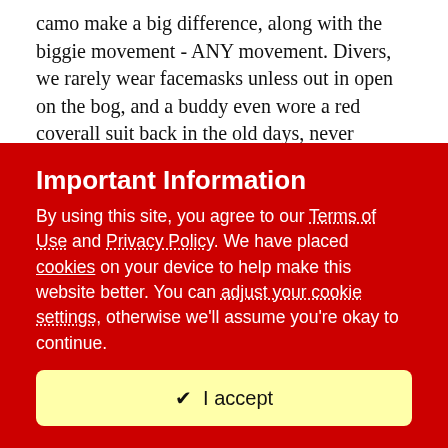camo make a big difference, along with the biggie movement - ANY movement. Divers, we rarely wear facemasks unless out in open on the bog, and a buddy even wore a red coverall suit back in the old days, never mattered, but there were tons of duck back then too.
But you sure can tell the exact moment when those mallards or geese "make you" by their head movement and wing beats, hehe.
I also think hunters think too much about side camo (our view from the water/ground level, and not enough from the overhead view, like a higher flying duck would see. Think about you boat, that coke bottle, the shiny thermos, the bag of
Important Information
By using this site, you agree to our Terms of Use and Privacy Policy. We have placed cookies on your device to help make this website better. You can adjust your cookie settings, otherwise we'll assume you're okay to continue.
✔  I accept